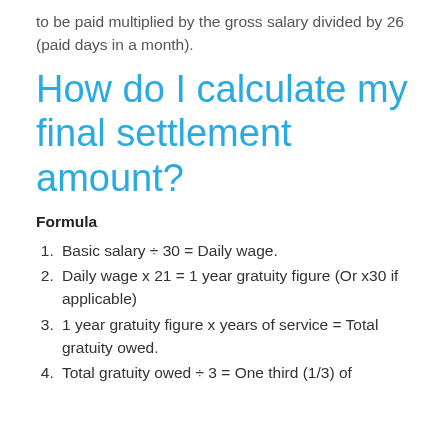to be paid multiplied by the gross salary divided by 26 (paid days in a month).
How do I calculate my final settlement amount?
Formula
Basic salary ÷ 30 = Daily wage.
Daily wage x 21 = 1 year gratuity figure (Or x30 if applicable)
1 year gratuity figure x years of service = Total gratuity owed.
Total gratuity owed ÷ 3 = One third (1/3) of